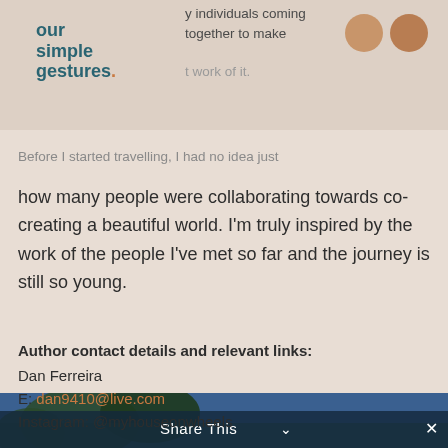[Figure (logo): Our Simple Gestures logo with teal text and orange dot]
y individuals coming together to make
t work of it.
Before I started travelling, I had no idea just how many people were collaborating towards co-creating a beautiful world. I'm truly inspired by the work of the people I've met so far and the journey is still so young.
Author contact details and relevant links:
Dan Ferreira
E: dan9410@live.com
Instagram: @myhouseonwheels
[Figure (photo): Photo of trees against a blue sky, partially visible at the bottom of the page with a Share This bar overlay]